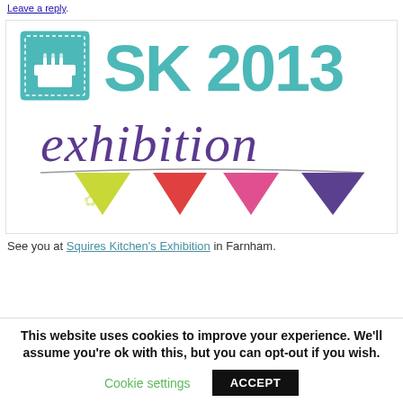Leave a reply.
[Figure (logo): SK2013 Exhibition logo with birthday cake icon and colourful bunting pennants (yellow-green, red, pink, purple) on a white background]
See you at Squires Kitchen's Exhibition in Farnham.
This website uses cookies to improve your experience. We'll assume you're ok with this, but you can opt-out if you wish.
Cookie settings   ACCEPT